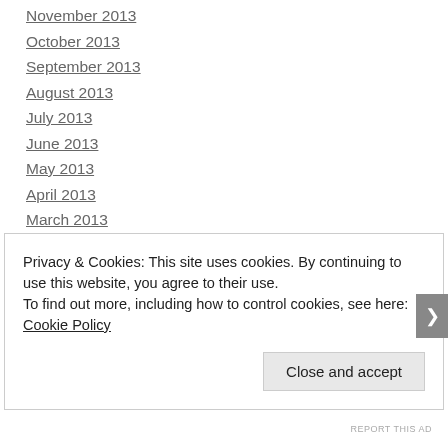November 2013
October 2013
September 2013
August 2013
July 2013
June 2013
May 2013
April 2013
March 2013
February 2013
January 2013
December 2012
November 2012
Privacy & Cookies: This site uses cookies. By continuing to use this website, you agree to their use. To find out more, including how to control cookies, see here: Cookie Policy
Close and accept
REPORT THIS AD